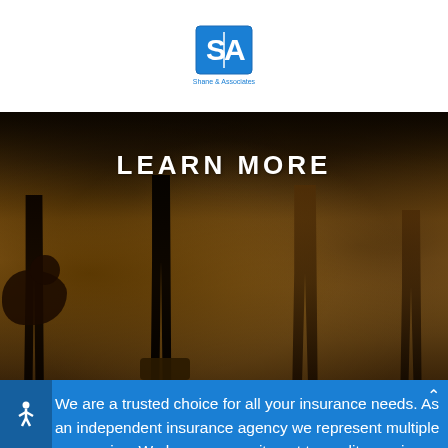SA Insurance & Associates logo
[Figure (photo): People and a dog walking on grass in golden hour sunlight, showing legs and lower bodies with text overlay 'LEARN MORE']
We are a trusted choice for all your insurance needs. As an independent insurance agency we represent multiple companies. We have a commitment to quality service and